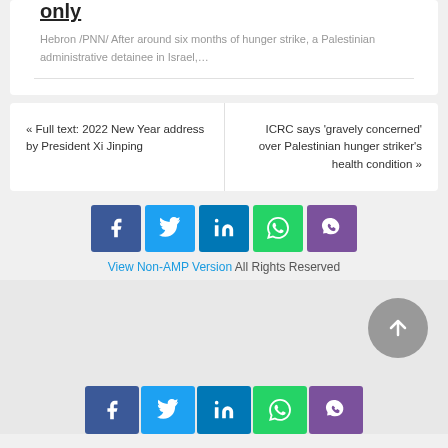only
Hebron /PNN/ After around six months of hunger strike, a Palestinian administrative detainee in Israel,…
« Full text: 2022 New Year address by President Xi Jinping
ICRC says 'gravely concerned' over Palestinian hunger striker's health condition »
[Figure (infographic): Social share buttons: Facebook, Twitter, LinkedIn, WhatsApp, Viber]
View Non-AMP Version All Rights Reserved
[Figure (infographic): Scroll to top button (circular gray button with up arrow)]
[Figure (infographic): Bottom social share buttons: Facebook, Twitter, LinkedIn, WhatsApp, Viber]